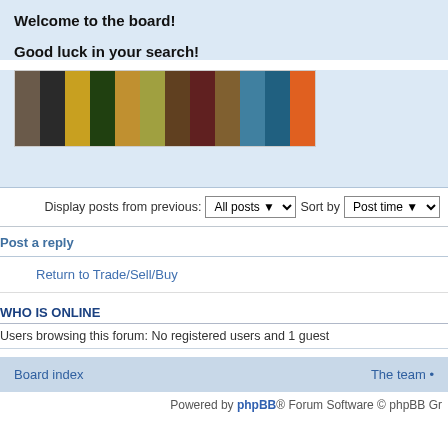Welcome to the board!
Good luck in your search!
[Figure (photo): Colorful banner image showing various collectible items including photos, trophies, and other objects]
Display posts from previous: All posts  Sort by  Post time
Post a reply
Return to Trade/Sell/Buy
WHO IS ONLINE
Users browsing this forum: No registered users and 1 guest
Board index   The team •
Powered by phpBB® Forum Software © phpBB Gr